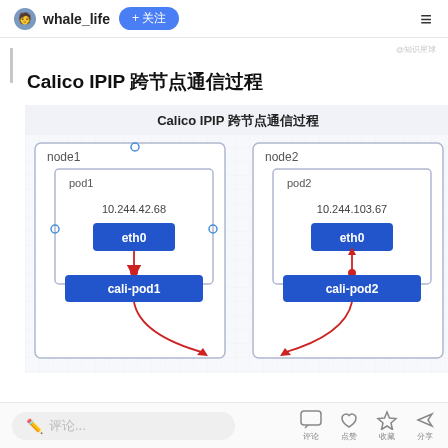whale_life  + 关注
Calico IPIP 跨节点通信过程
[Figure (network-graph): Diagram titled 'Calico IPIP 跨节点通信过程' showing two nodes: node1 containing pod1 (IP: 10.244.42.68) with eth0 and cali-pod1 interfaces, and node2 containing pod2 (IP: 10.244.103.67) with eth0 and cali-pod2 interfaces, connected by red curved arrows indicating IPIP cross-node communication.]
评论...  评论  点赞  收藏  分享